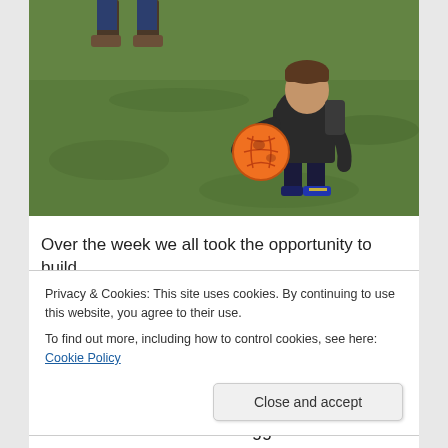[Figure (photo): A young child in a dark hoodie and jeans holding an orange soccer ball on a grass field. An adult's legs and boots are visible in the upper left corner.]
Over the week we all took the opportunity to build
up new relationships with residents and reconnect
Privacy & Cookies: This site uses cookies. By continuing to use this website, you agree to their use.
To find out more, including how to control cookies, see here: Cookie Policy
Close and accept
will work hard to make it bigger and better.